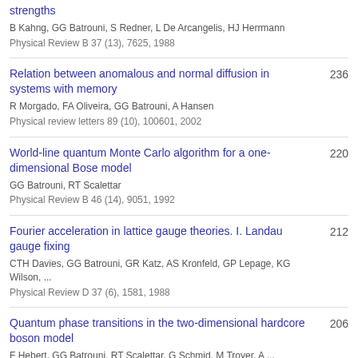strengths
B Kahng, GG Batrouni, S Redner, L De Arcangelis, HJ Herrmann
Physical Review B 37 (13), 7625, 1988
Relation between anomalous and normal diffusion in systems with memory | 236
R Morgado, FA Oliveira, GG Batrouni, A Hansen
Physical review letters 89 (10), 100601, 2002
World-line quantum Monte Carlo algorithm for a one-dimensional Bose model | 220
GG Batrouni, RT Scalettar
Physical Review B 46 (14), 9051, 1992
Fourier acceleration in lattice gauge theories. I. Landau gauge fixing | 212
CTH Davies, GG Batrouni, GR Katz, AS Kronfeld, GP Lepage, KG Wilson, ...
Physical Review D 37 (6), 1581, 1988
Quantum phase transitions in the two-dimensional hardcore boson model | 206
F Hebert, GG Batrouni, RT Scalettar, G Schmid, M Troyer, A ...